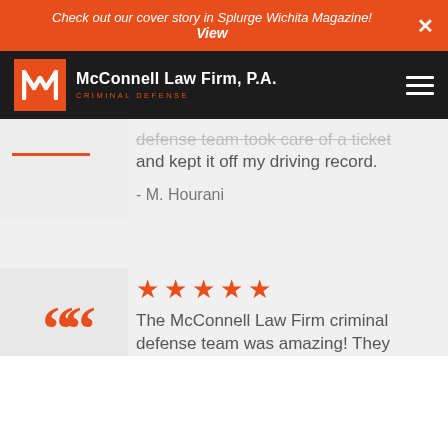Check out our cover story in Splurge Wichita Magazine! View
[Figure (logo): McConnell Law Firm P.A. logo with navigation bar on dark background]
defense team took care of a ticket and kept it off my driving record.
- M. Hourani
★★★★★
The McConnell Law Firm criminal defense team was amazing! They